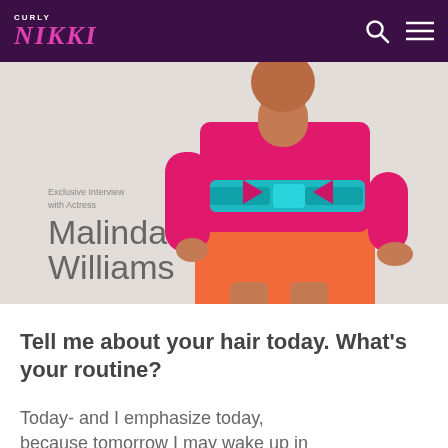CURLY NIKKI
[Figure (photo): Actress Malinda Williams wearing an orange skirt with a colorful top and teal bow belt. Text overlay reads 'Exclusive Interview with Actress Malinda Williams']
Tell me about your hair today. What's your routine?
Today- and I emphasize today, because tomorrow I may wake up in